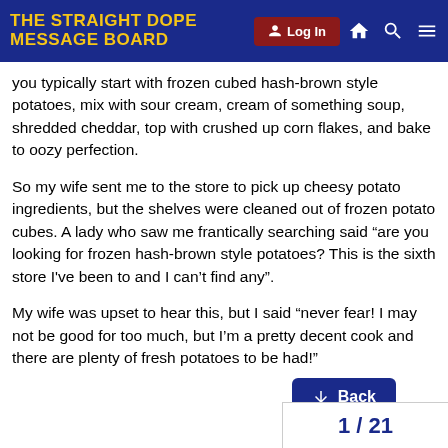THE STRAIGHT DOPE MESSAGE BOARD
you typically start with frozen cubed hash-brown style potatoes, mix with sour cream, cream of something soup, shredded cheddar, top with crushed up corn flakes, and bake to oozy perfection.
So my wife sent me to the store to pick up cheesy potato ingredients, but the shelves were cleaned out of frozen potato cubes. A lady who saw me frantically searching said “are you looking for frozen hash-brown style potatoes? This is the sixth store I've been to and I can't find any”.
My wife was upset to hear this, but I said “never fear! I may not be good for too much, but I’m a pretty decent cook and there are plenty of fresh potatoes to be had!”
But, all the cheesy potato recipes I find online say to use the pre-cubed frozen potatoes. I’m not sure how ex bout prepping the potatoes. I don’t think cutting up raw potatoes and baking will work, I’m pretty sure they need mixing into a casserole and baking, but ho
1 / 21